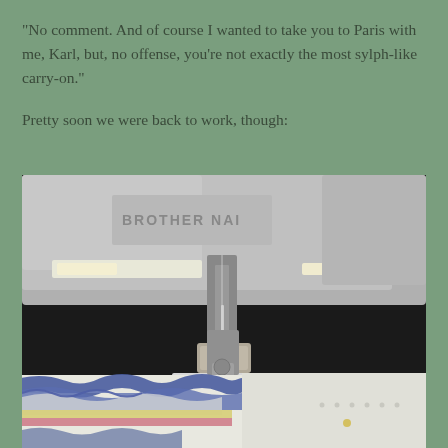“No comment. And of course I wanted to take you to Paris with me, Karl, but, no offense, you’re not exactly the most sylph-like carry-on.”
Pretty soon we were back to work, though:
[Figure (photo): Close-up photo of a sewing machine needle and presser foot actively sewing through colorful striped ruffled fabric (white, blue, yellow, pink stripes). The sewing machine body is light gray/white. The fabric is being fed through the machine from the left side.]